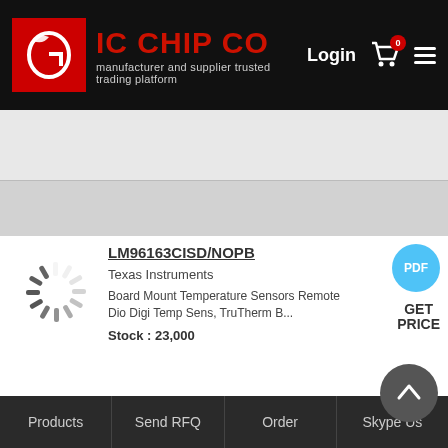[Figure (logo): IC Chip Co logo with red G letter in red square border and company name]
Login
Search...
LM96163CISD/NOPB
Texas Instruments
Board Mount Temperature Sensors Remote Dio Digi Temp Sens, TruTherm B...
Stock : 23,000
PDF
GET PRICE
LM20BIM7X/NOPB
PDF
Products  Send RFQ  Order  Skype Us